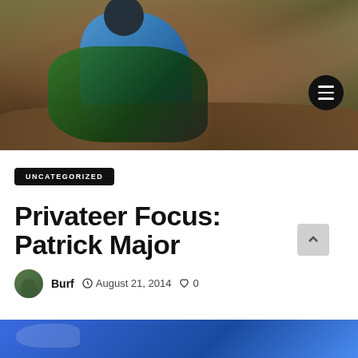[Figure (photo): Motocross rider on a green dirt bike making a sharp turn in muddy dirt, wearing blue and white gear with a black helmet, dirt splashing around.]
UNCATEGORIZED
Privateer Focus: Patrick Major
Burf  August 21, 2014  0
[Figure (photo): Partial view of a blue motocross-related image at the bottom of the page.]